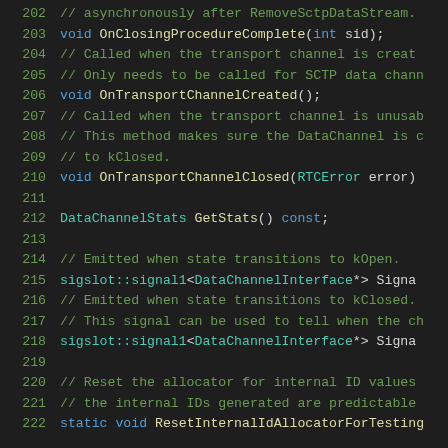Code listing lines 202-222, C++ header file with method declarations for DataChannel interface including OnClosingProcedureComplete, OnTransportChannelCreated, OnTransportChannelClosed, GetStats, signal declarations, and ResetInternalIdAllocatorForTesting